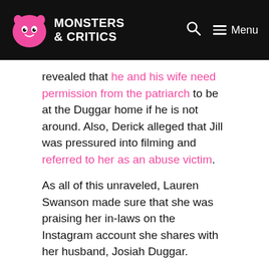Monsters & Critics
revealed that he and his wife need permission from the patriarch to be at the Duggar home if he is not around. Also, Derick alleged that Jill was pressured into filming and referred to her as an abuse victim.
As all of this unraveled, Lauren Swanson made sure that she was praising her in-laws on the Instagram account she shares with her husband, Josiah Duggar.
Get our Duggar newsletter! [email form with Go! button]
It's not really a surprise that Lauren stood up for